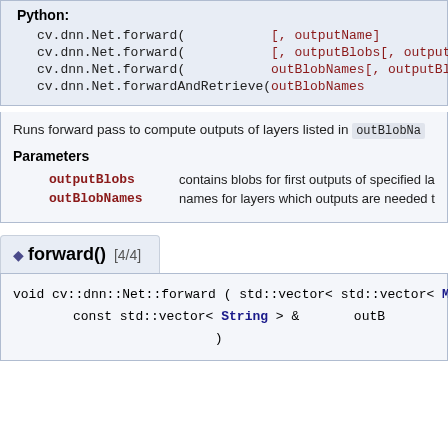Python:
cv.dnn.Net.forward( [, outputName] ) ->
cv.dnn.Net.forward( [, outputBlobs[, outputName]] ) ->
cv.dnn.Net.forward( outBlobNames[, outputBlobs] ) ->
cv.dnn.Net.forwardAndRetrieve( outBlobNames ) ->
Runs forward pass to compute outputs of layers listed in outBlobNames
Parameters
outputBlobs contains blobs for first outputs of specified la
outBlobNames names for layers which outputs are needed t
◆ forward() [4/4]
void cv::dnn::Net::forward ( std::vector< std::vector< Mat > > & outp const std::vector< String > & outB )